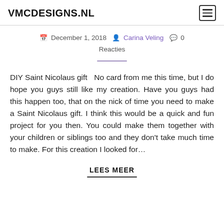VMCDESIGNS.NL
December 1, 2018  Carina Veling  0 Reacties
DIY Saint Nicolaus gift  No card from me this time, but I do hope you guys still like my creation. Have you guys had this happen too, that on the nick of time you need to make a Saint Nicolaus gift. I think this would be a quick and fun project for you then. You could make them together with your children or siblings too and they don’t take much time to make. For this creation I looked for…
LEES MEER